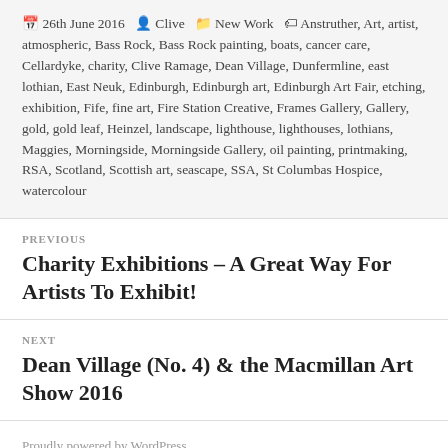📅 26th June 2016  👤 Clive  📁 New Work  🏷 Anstruther, Art, artist, atmospheric, Bass Rock, Bass Rock painting, boats, cancer care, Cellardyke, charity, Clive Ramage, Dean Village, Dunfermline, east lothian, East Neuk, Edinburgh, Edinburgh art, Edinburgh Art Fair, etching, exhibition, Fife, fine art, Fire Station Creative, Frames Gallery, Gallery, gold, gold leaf, Heinzel, landscape, lighthouse, lighthouses, lothians, Maggies, Morningside, Morningside Gallery, oil painting, printmaking, RSA, Scotland, Scottish art, seascape, SSA, St Columbas Hospice, watercolour
PREVIOUS
Charity Exhibitions – A Great Way For Artists To Exhibit!
NEXT
Dean Village (No. 4) & the Macmillan Art Show 2016
Proudly powered by WordPress